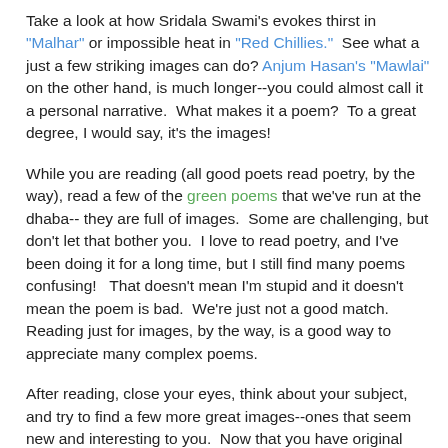Take a look at how Sridala Swami's evokes thirst in "Malhar" or impossible heat in "Red Chillies."  See what a just a few striking images can do?  Anjum Hasan's "Mawlai" on the other hand, is much longer--you could almost call it a personal narrative.  What makes it a poem?  To a great degree, I would say, it's the images!
While you are reading (all good poets read poetry, by the way), read a few of the green poems that we've run at the dhaba-- they are full of images.  Some are challenging, but don't let that bother you.  I love to read poetry, and I've been doing it for a long time, but I still find many poems confusing!   That doesn't mean I'm stupid and it doesn't mean the poem is bad.  We're just not a good match.  Reading just for images, by the way, is a good way to appreciate many complex poems.
After reading, close your eyes, think about your subject, and try to find a few more great images--ones that seem new and interesting to you.  Now that you have original images to work with, you can easily avoid abstract, boring statements like, "Global warming/litter/cruelty toward animals is bad."  If you think it's bad to kick street dogs, shoot tigers, or litter, don't tell us directly; show us an image that will lead us to that understanding.  Much more powerful!